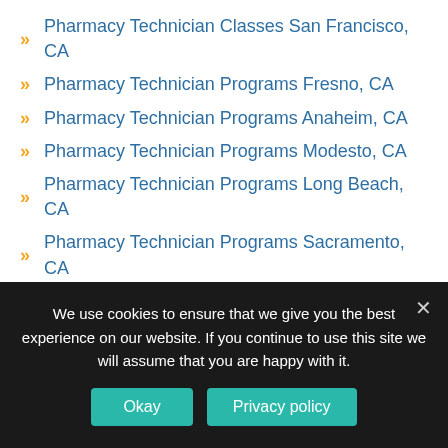Pharmacy Technician Classes San Francisco, CA
Pharmacy Technician Programs Fresno, CA
Pharmacy Technician Programs Anaheim, CA
Pharmacy Technician Programs Modesto, CA
Pharmacy Technician Programs Long Beach, CA
Pharmacy Technician Programs Sacramento, CA
Pharmacy Technician Programs Riverside, CA
Pharmacy Technician Programs Bakersfield, CA
Pharmacy Technician Programs San Bernardino, CA
Pharmacy Technician Programs Ontario, CA
Pharmacy Technician Programs Santa Ana, CA
Pharmacy Technician Programs Hayward, CA
Pharmacy Technician Programs Vista, CA
We use cookies to ensure that we give you the best experience on our website. If you continue to use this site we will assume that you are happy with it. Okay | Privacy policy